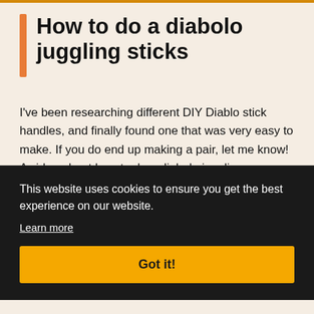How to do a diabolo juggling sticks
I've been researching different DIY Diablo stick handles, and finally found one that was very easy to make. If you do end up making a pair, let me know! A video about how to do a diabolo juggling ... at I ... LAY
This website uses cookies to ensure you get the best experience on our website. Learn more Got it!